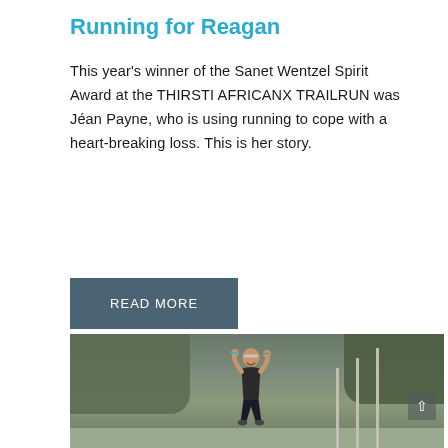Running for Reagan
This year's winner of the Sanet Wentzel Spirit Award at the THIRSTI AFRICANX TRAILRUN was Jéan Payne, who is using running to cope with a heart-breaking loss. This is her story.
READ MORE
[Figure (photo): A female runner celebrating with both arms raised at a trail running event, trees and poles in the background, outdoors daylight scene.]